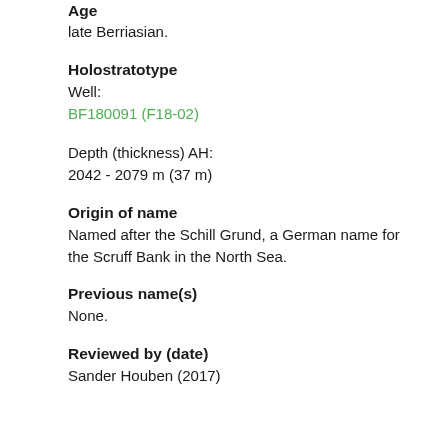Age
late Berriasian.
Holostratotype
Well:
BF180091 (F18-02)
Depth (thickness) AH:
2042 - 2079 m (37 m)
Origin of name
Named after the Schill Grund, a German name for the Scruff Bank in the North Sea.
Previous name(s)
None.
Reviewed by (date)
Sander Houben (2017)